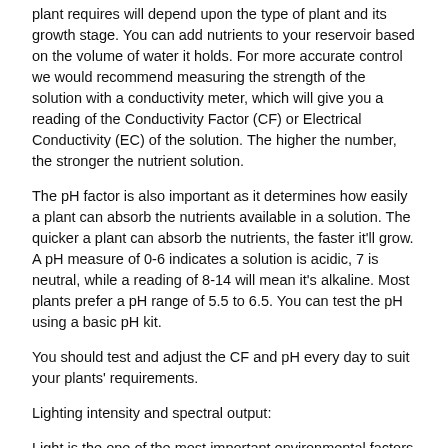plant requires will depend upon the type of plant and its growth stage. You can add nutrients to your reservoir based on the volume of water it holds. For more accurate control we would recommend measuring the strength of the solution with a conductivity meter, which will give you a reading of the Conductivity Factor (CF) or Electrical Conductivity (EC) of the solution. The higher the number, the stronger the nutrient solution.
The pH factor is also important as it determines how easily a plant can absorb the nutrients available in a solution. The quicker a plant can absorb the nutrients, the faster it'll grow. A pH measure of 0-6 indicates a solution is acidic, 7 is neutral, while a reading of 8-14 will mean it's alkaline. Most plants prefer a pH range of 5.5 to 6.5. You can test the pH using a basic pH kit.
You should test and adjust the CF and pH every day to suit your plants' requirements.
Lighting intensity and spectral output:
Light is the one of the most important environmental factors - without it a plant can't survive. Remember, for a plant, light is basically food. Most indoor gardeners use artificial lighting to increase growth rates and achieve bumper yields. You should place artificial lights directly above your plants.
Tip – Remember, increasing the amount of light increases heat. Don't let your room temperature exceed 30°C as this will